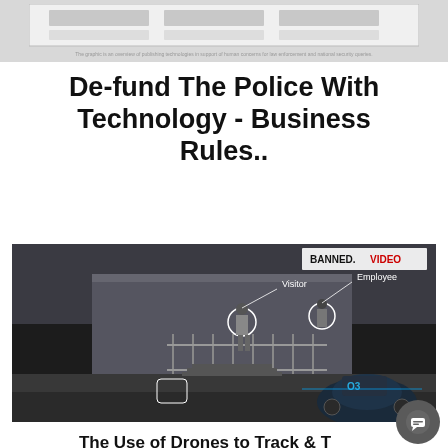[Figure (screenshot): Partial screenshot of a document or web page showing a chart or table area at the top, with a small caption line below it, against a light gray background.]
De-fund The Police With Technology - Business Rules..
[Figure (screenshot): Video still from BANNED.VIDEO showing surveillance/facial recognition footage of two people walking outside a building. One person is labeled 'Visitor' and the other 'Employee' with circle overlays, and a robotic device visible in the lower right corner.]
The Use of Drones to Track & Tag Human Beings Is Here Now...